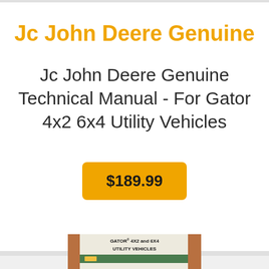Jc John Deere Genuine
Jc John Deere Genuine Technical Manual - For Gator 4x2 6x4 Utility Vehicles
$189.99
[Figure (photo): Photo of a John Deere manual booklet with text GATOR 4x2 and 6x4 UTILITY VEHICLES on the cover with a green John Deere logo stripe]